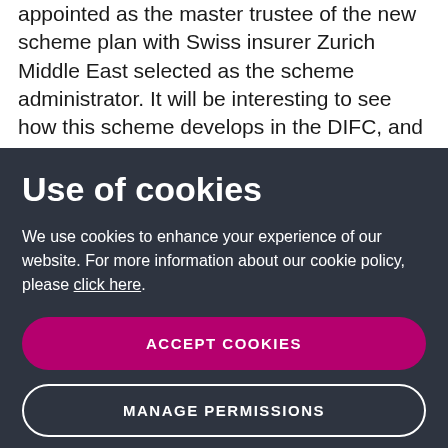appointed as the master trustee of the new scheme plan with Swiss insurer Zurich Middle East selected as the scheme administrator. It will be interesting to see how this scheme develops in the DIFC, and whether it will be adopted by other GCC jurisdictions, onshore and offshore.
Use of cookies
We use cookies to enhance your experience of our website. For more information about our cookie policy, please click here.
ACCEPT COOKIES
MANAGE PERMISSIONS